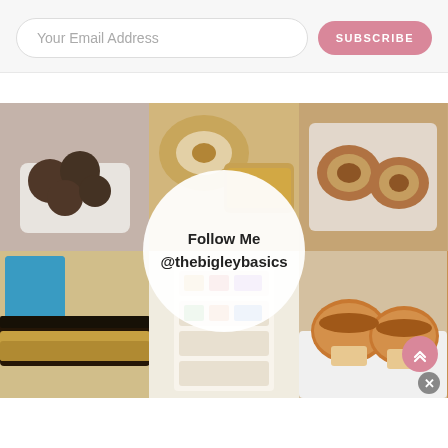Your Email Address
SUBSCRIBE
[Figure (photo): Instagram-style grid of 6 food photos with a circular 'Follow Me @thebigleybasics' overlay in the center. Photos include chocolate truffles, bagels and pancakes, cinnamon rolls, chocolate granola bars, a snack organizer, and cinnamon muffins.]